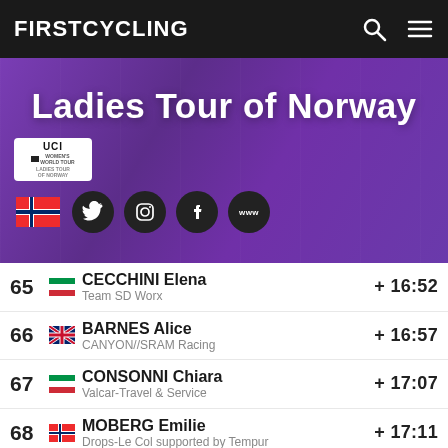FIRSTCYCLING
[Figure (screenshot): Ladies Tour of Norway banner with UCI logo, Norwegian flag, and social media icons on purple background]
| Pos | Flag | Rider / Team | Time |
| --- | --- | --- | --- |
| 65 | ITA | CECCHINI Elena / Team SD Worx | + 16:52 |
| 66 | GBR | BARNES Alice / CANYON//SRAM Racing | + 16:57 |
| 67 | ITA | CONSONNI Chiara / Valcar-Travel & Service | + 17:07 |
| 68 | NOR | MOBERG Emilie / Drops-Le Col supported by Tempur | + 17:11 |
| 69 | ESP | GUTIERREZ Sheyla / Movistar Team | + 17:22 |
| 70 | ITA | GUARISCHI Barbara / Movistar Team | + 18:13 |
| 71 | JPN | YONAMINE Eri / Team TIBCO-Silicon Valley Bank | + 18:21 |
| 72 | AUS | HOSKING Chloe / Trek-Segafredo | + 18:59 |
| 73 | ... | GHEKIERE Justine / ... | ... |